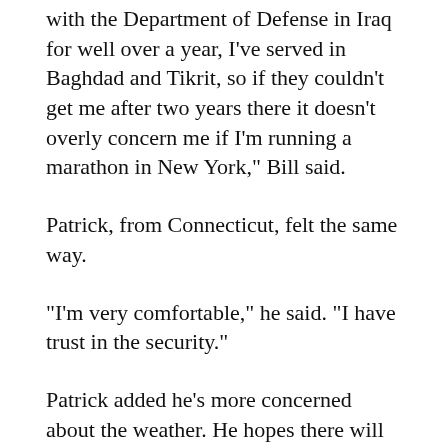with the Department of Defense in Iraq for well over a year, I've served in Baghdad and Tikrit, so if they couldn't get me after two years there it doesn't overly concern me if I'm running a marathon in New York," Bill said.
Patrick, from Connecticut, felt the same way.
"I'm very comfortable," he said. "I have trust in the security."
Patrick added he's more concerned about the weather. He hopes there will be a mild drizzle.